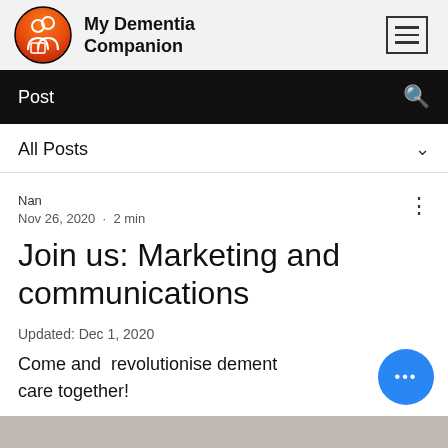My Dementia Companion
Post
All Posts
Nan
Nov 26, 2020 · 2 min
Join us: Marketing and communications
Updated: Dec 1, 2020
Come and  revolutionise dementia care together!
[Figure (photo): Bottom image strip partially visible]